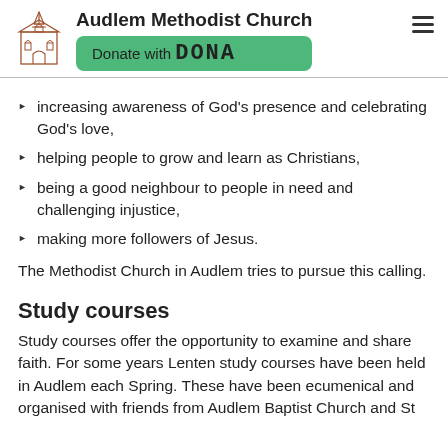Audlem Methodist Church
[Figure (logo): Audlem Methodist Church logo — line drawing of a church building with arched windows and a steeple]
[Figure (other): Green 'Donate with DONA' button]
increasing awareness of God's presence and celebrating God's love,
helping people to grow and learn as Christians,
being a good neighbour to people in need and challenging injustice,
making more followers of Jesus.
The Methodist Church in Audlem tries to pursue this calling.
Study courses
Study courses offer the opportunity to examine and share faith. For some years Lenten study courses have been held in Audlem each Spring. These have been ecumenical and organised with friends from Audlem Baptist Church and St